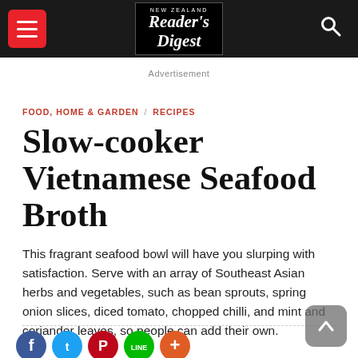New Zealand Reader's Digest
Advertisement
FOOD, HOME & GARDEN / RECIPES
Slow-cooker Vietnamese Seafood Broth
This fragrant seafood bowl will have you slurping with satisfaction. Serve with an array of Southeast Asian herbs and vegetables, such as bean sprouts, spring onion slices, diced tomato, chopped chilli, and mint and coriander leaves, so people can add their own.